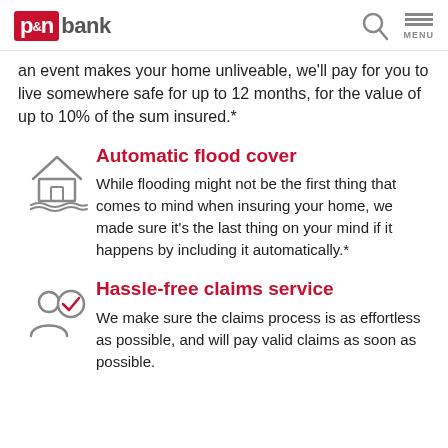P&N bank
an event makes your home unliveable, we'll pay for you to live somewhere safe for up to 12 months, for the value of up to 10% of the sum insured.*
Automatic flood cover
While flooding might not be the first thing that comes to mind when insuring your home, we made sure it's the last thing on your mind if it happens by including it automatically.*
Hassle-free claims service
We make sure the claims process is as effortless as possible, and will pay valid claims as soon as possible.